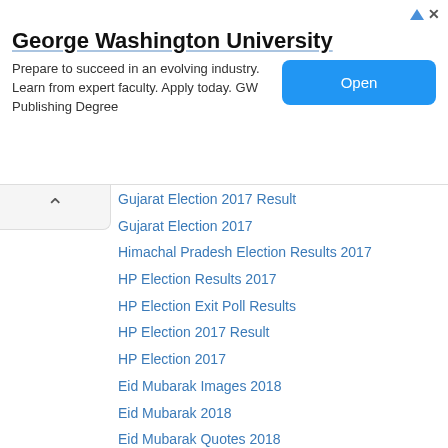[Figure (screenshot): Advertisement banner for George Washington University with 'Open' button]
Gujarat Election 2017 Result
Gujarat Election 2017
Himachal Pradesh Election Results 2017
HP Election Results 2017
HP Election Exit Poll Results
HP Election 2017 Result
HP Election 2017
Eid Mubarak Images 2018
Eid Mubarak 2018
Eid Mubarak Quotes 2018
Eid Mubarak Wallpapers 2018
Eid Mubarak Wishes 2018
Assam HSLC Result 2018
Assam 10th Result 2018
Assam Board Result 2018
SEBA HSLC Result 2018
SEBA 10th HSLC Result 2018
Fathers Day Images 2018